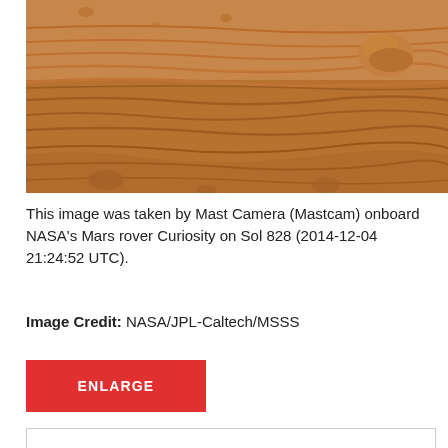[Figure (photo): Photo taken by Mast Camera (Mastcam) onboard NASA's Mars rover Curiosity showing layered sedimentary rock surface on Mars with a small rock formation on the right side.]
This image was taken by Mast Camera (Mastcam) onboard NASA's Mars rover Curiosity on Sol 828 (2014-12-04 21:24:52 UTC).
Image Credit: NASA/JPL-Caltech/MSSS
ENLARGE
Downloads
Sol 828: Mast Camera (Mastcam)